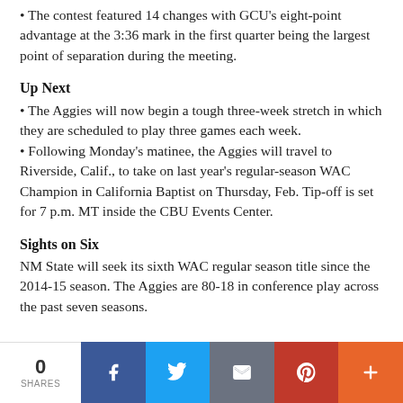• The contest featured 14 changes with GCU's eight-point advantage at the 3:36 mark in the first quarter being the largest point of separation during the meeting.
Up Next
• The Aggies will now begin a tough three-week stretch in which they are scheduled to play three games each week.
• Following Monday's matinee, the Aggies will travel to Riverside, Calif., to take on last year's regular-season WAC Champion in California Baptist on Thursday, Feb. Tip-off is set for 7 p.m. MT inside the CBU Events Center.
Sights on Six
NM State will seek its sixth WAC regular season title since the 2014-15 season. The Aggies are 80-18 in conference play across the past seven seasons.
0 SHARES | Facebook | Twitter | Email | Pinterest | More